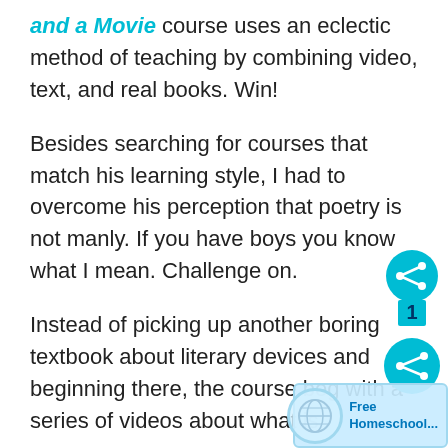and a Movie course uses an eclectic method of teaching by combining video, text, and real books. Win!
Besides searching for courses that match his learning style, I had to overcome his perception that poetry is not manly. If you have boys you know what I mean. Challenge on.
Instead of picking up another boring textbook about literary devices and beginning there, the course beg with a series of videos about what is
[Figure (other): A teal/cyan colored social share widget shaped like a gourd/person, showing a share icon on top circle, number 1 in the middle, and a share icon on the bottom circle.]
[Figure (other): Free Homeschool badge/watermark with globe icon and text 'Free Homeschool...' in the bottom right corner.]